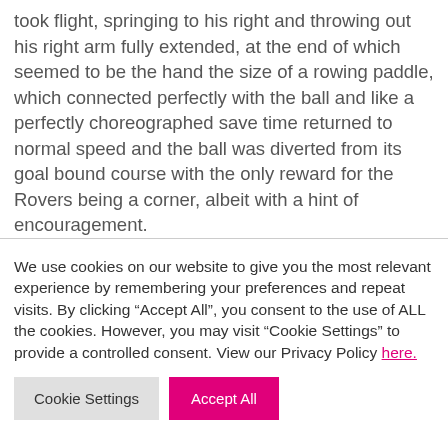took flight, springing to his right and throwing out his right arm fully extended, at the end of which seemed to be the hand the size of a rowing paddle, which connected perfectly with the ball and like a perfectly choreographed save time returned to normal speed and the ball was diverted from its goal bound course with the only reward for the Rovers being a corner, albeit with a hint of encouragement.
We use cookies on our website to give you the most relevant experience by remembering your preferences and repeat visits. By clicking “Accept All”, you consent to the use of ALL the cookies. However, you may visit "Cookie Settings" to provide a controlled consent. View our Privacy Policy here.